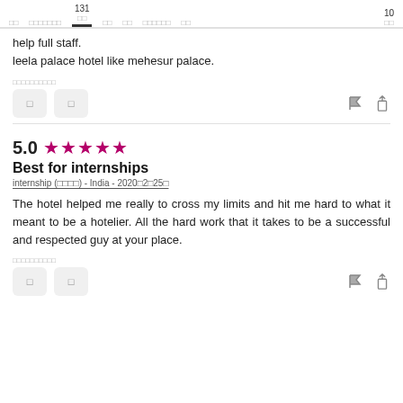131  10
help full staff.
leela palace hotel like mehesur palace.
The hotel helped me really to cross my limits and hit me hard to what it meant to be a hotelier. All the hard work that it takes to be a successful and respected guy at your place.
5.0 ★★★★★
Best for internships
internship (☐☐☐☐) - India - 2020☐2☐25☐